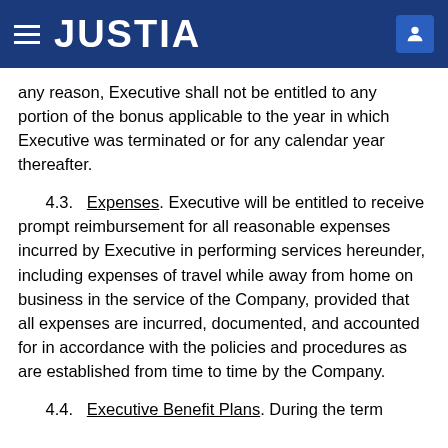JUSTIA
any reason, Executive shall not be entitled to any portion of the bonus applicable to the year in which Executive was terminated or for any calendar year thereafter.
4.3. Expenses. Executive will be entitled to receive prompt reimbursement for all reasonable expenses incurred by Executive in performing services hereunder, including expenses of travel while away from home on business in the service of the Company, provided that all expenses are incurred, documented, and accounted for in accordance with the policies and procedures as are established from time to time by the Company.
4.4. Executive Benefit Plans. During the term